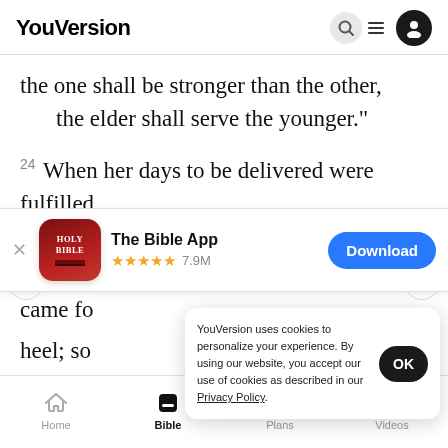YouVersion
the one shall be stronger than the other,
    the elder shall serve the younger."
24 When her days to be delivered were fulfilled, behold, there were twins in her womb. 25 The first
[Figure (screenshot): The Bible App download banner with HOLY BIBLE icon, 5 stars, 7.9M rating, and Download button]
came fo
heel; so
YouVersion uses cookies to personalize your experience. By using our website, you accept our use of cookies as described in our Privacy Policy.
Home  Bible  Plans  Videos